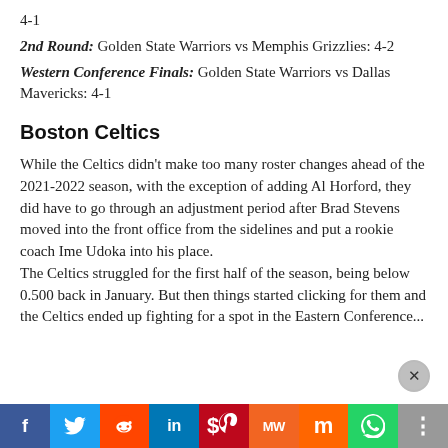4-1
2nd Round: Golden State Warriors vs Memphis Grizzlies: 4-2
Western Conference Finals: Golden State Warriors vs Dallas Mavericks: 4-1
Boston Celtics
While the Celtics didn't make too many roster changes ahead of the 2021-2022 season, with the exception of adding Al Horford, they did have to go through an adjustment period after Brad Stevens moved into the front office from the sidelines and put a rookie coach Ime Udoka into his place. The Celtics struggled for the first half of the season, being below 0.500 back in January. But then things started clicking for them and the Celtics ended up fighting for a spot in the Eastern Conference...